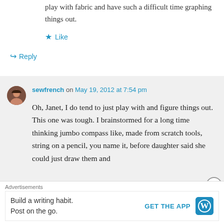play with fabric and have such a difficult time graphing things out.
Like
Reply
sewfrench on May 19, 2012 at 7:54 pm
Oh, Janet, I do tend to just play with and figure things out. This one was tough. I brainstormed for a long time thinking jumbo compass like, made from scratch tools, string on a pencil, you name it, before daughter said she could just draw them and
Advertisements
Build a writing habit.
Post on the go.
GET THE APP